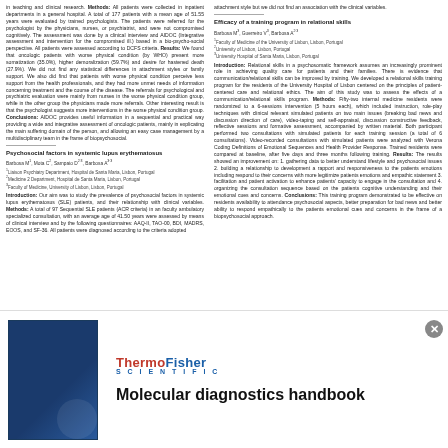in teaching and clinical research. Methods: All patients were collected in inpatient departments in a general hospital. A total of 177 patients with a mean age of 51.55 years were evaluated by trained psychologists. The patients were referred for the psychologist by the physicians, nurses, or psychiatrist, and were not compromised cognitively. The assessment was done by a clinical interview and AIDOC (Integrative assessment and intervention for the compromised ill.) based in a bio-psycho-social perspective. All patients were assessed according to DCFS criteria. Results: We found that oncologic patients with worse physical condition (by WHO) present more somatization (35.0%), higher demoralization (59.7%) and desire for hastened death (27.9%). We did not find any statistical differences in attachment styles or family support. We also did find that patients with worse physical condition perceive less support from the health professionals, and they had more unmet needs of information concerning treatment and the course of the disease. The referrals for psychological and psychiatric evaluation were mainly from nurses in the worse physical condition group, while in the other group the physicians made more referrals. Other interesting result is that the psychologist suggests more interventions in the worse physical condition group. Conclusions: AIDOC provides useful information in a sequential and practical way providing a wide and integrative assessment of oncologic patients, mainly in explicating the main suffering domain of the person, and allowing an easy case management by a multidisciplinary team in the frame of biopsychosocial.
Psychosocial factors in systemic lupus erythematosus
Barbosa M¹, Mota C², Sampaio D²·³, Barbosa A³·³
¹Liaison Psychiatry Department, Hospital de Santa Maria, Lisbon, Portugal
²Medicine 2 Department, Hospital de Santa Maria, Lisbon, Portugal
³Faculty of Medicine, University of Lisbon, Lisbon, Portugal
Introduction: Our aim was to study the prevalence of psychosocial factors in systemic lupus erythematosus (SLE) patients, and their relationship with clinical variables. Methods: A total of 97 Sequential SLE patients (ACR criteria) in an faculty ambulatory specialized consultation, with an average age of 41.50 years were assessed by means of clinical interview and by the following questionnaires: AAQ-II, TAO-00, BDI, MADRS, EOOS, and SF-36. All patients were diagnosed according to the criteria adopted attachment style but we did not find an association with the clinical variables.
Efficacy of a training program in relational skills
Barbosa M³, Guerreiro V³, Barbosa A²·³
¹Faculty of Medicine of the University of Lisbon, Lisbon, Portugal
²University of Lisbon, Lisbon, Portugal
³University Hospital of Santa Maria, Lisbon, Portugal
Introduction: Relational skills in a psychosomatic framework assumes an increasingly prominent role in achieving quality care for patients and their families. There is evidence that communication/relational skills can be improved by training. We developed a relational skills training program for the residents of the University Hospital of Lisbon centered on the principles of patient-centered care and relational ethics. The aim of this study was to assess the effects of a communication/relational skills program. Methods: Fifty-two internal medicine residents were randomized to a 6-sessions intervention (5 hours each), which included instruction, role-play techniques with clinical relevant simulated patients on two main issues (breaking bad news and discussion direction of care), video-taping and self-appraisal, discussion constructive feedback, reflective sessions and formative assessment, accompanied by written material. Both participant performed two consultations with simulated patients for each training session (a total of 6 consultations). Video-recorded consultations with simulated patients were analyzed with Verona Coding Definitions of Emotional Sequences and Health Provider Response. Trained residents were compared at baseline, after five days and three months following training. Results: The results showed an improvement on: 1. gathering data to better understand lifestyle and psychosocial issues 2. building a relationship to development a rapport and responsiveness to the patients emotions including respond to their concerns with more legitimize patients emotions and empathic statement 3. facilitation and patient activation to enhance patients' capacity to engage in the consultation and 4. organizing the consultation sequence based on the patients cognitive understanding and their emotional cues and concerns. Conclusions: This training program demonstrated to be effective on residents availability to attendance psychosocial aspects, better preparation for bad news and better ability to respond empathically to the patients emotional cues and concerns in the frame of a biopsychosocial approach.
[Figure (illustration): Thermo Fisher Scientific advertisement showing molecular diagnostics handbook with lab equipment image on blue background]
Molecular diagnostics handbook